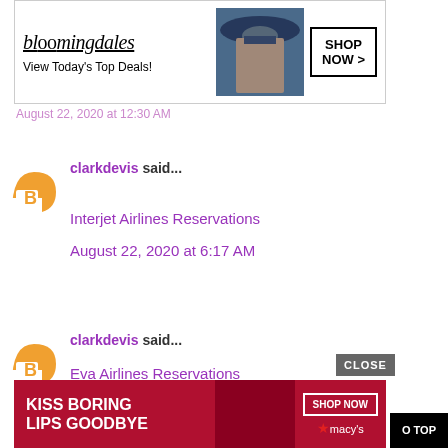[Figure (screenshot): Bloomingdales advertisement banner: logo, 'View Today's Top Deals!', model with hat, SHOP NOW button]
August 22, 2020 at 12:30 AM
clarkdevis said...
Interjet Airlines Reservations
August 22, 2020 at 6:17 AM
clarkdevis said...
Eva Airlines Reservations
August 22, 2020 at 6:18 AM
[Figure (screenshot): Macy's advertisement banner: 'KISS BORING LIPS GOODBYE', SHOP NOW button, Macy's star logo]